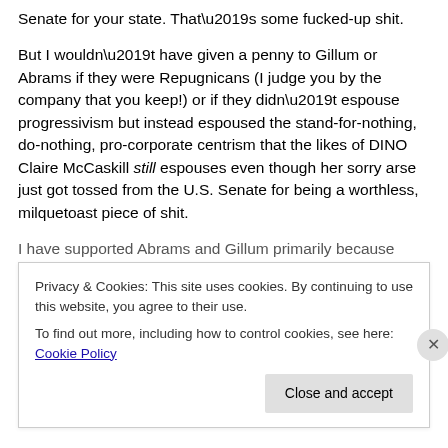Senate for your state. That’s some fucked-up shit.
But I wouldn’t have given a penny to Gillum or Abrams if they were Repugnicans (I judge you by the company that you keep!) or if they didn’t espouse progressivism but instead espoused the stand-for-nothing, do-nothing, pro-corporate centrism that the likes of DINO Claire McCaskill still espouses even though her sorry arse just got tossed from the U.S. Senate for being a worthless, milquetoast piece of shit.
I have supported Abrams and Gillum primarily because
Privacy & Cookies: This site uses cookies. By continuing to use this website, you agree to their use.
To find out more, including how to control cookies, see here: Cookie Policy